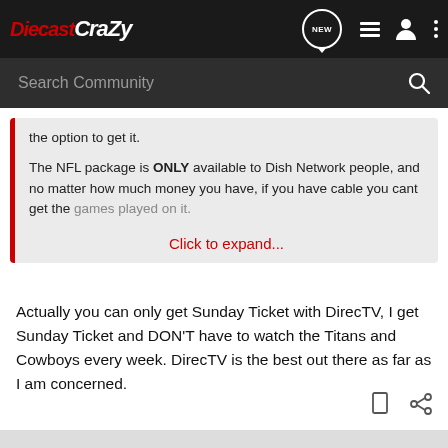DiecastCrazy
the option to get it.

The NFL package is ONLY available to Dish Network people, and no matter how much money you have, if you have cable you cant get the games played on it.

Click to expand...
Actually you can only get Sunday Ticket with DirecTV, I get Sunday Ticket and DON'T have to watch the Titans and Cowboys every week. DirecTV is the best out there as far as I am concerned.